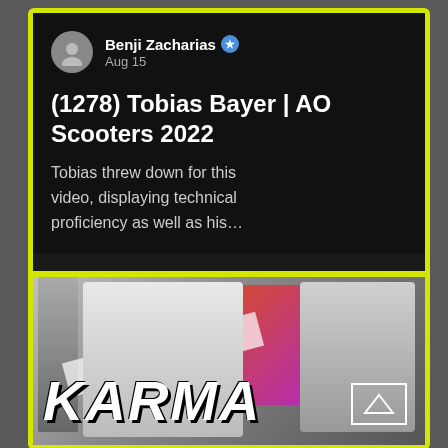Benji Zacharias ★ Aug 15
(1278) Tobias Bayer | AO Scooters 2022
Tobias threw down for this video, displaying technical proficiency as well as his…
[Figure (photo): Black and white photo of two people with 'KARMA' text overlay at the bottom, AO Scooters branding visible]